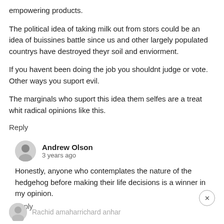empowering products.
The political idea of taking milk out from stors could be an idea of buissines battle since us and other largely populated countrys have destroyed theyr soil and enviorment.
If you havent been doing the job you shouldnt judge or vote. Other ways you suport evil.
The marginals who suport this idea them selfes are a treat whit radical opinions like this.
Reply
Andrew Olson
3 years ago
Honestly, anyone who contemplates the nature of the hedgehog before making their life decisions is a winner in my opinion.
Reply
Rachid amaharrichard anhar